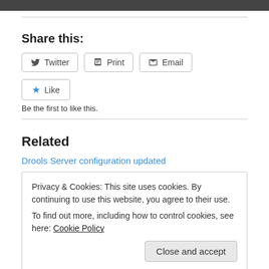Share this:
Twitter  Print  Email
★ Like
Be the first to like this.
Related
Drools Server configuration updated
Privacy & Cookies: This site uses cookies. By continuing to use this website, you agree to their use.
To find out more, including how to control cookies, see here: Cookie Policy
Close and accept
New Drools Execution Server